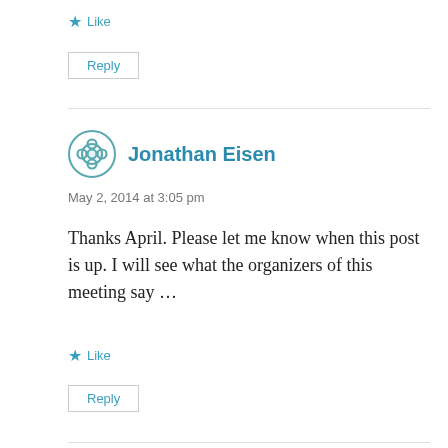★ Like
Reply
Jonathan Eisen
May 2, 2014 at 3:05 pm
Thanks April. Please let me know when this post is up. I will see what the organizers of this meeting say …
★ Like
Reply